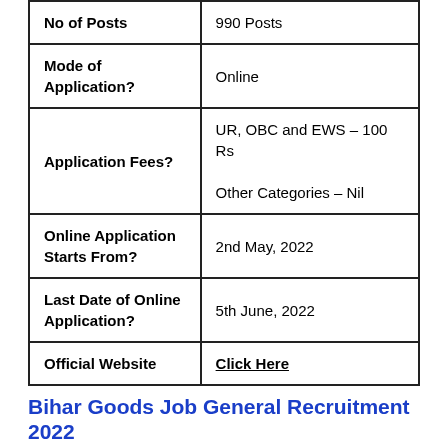| No of Posts | 990 Posts |
| Mode of Application? | Online |
| Application Fees? | UR, OBC and EWS – 100 Rs

Other Categories – Nil |
| Online Application Starts From? | 2nd May, 2022 |
| Last Date of Online Application? | 5th June, 2022 |
| Official Website | Click Here |
Bihar Goods Job General Recruitment 2022